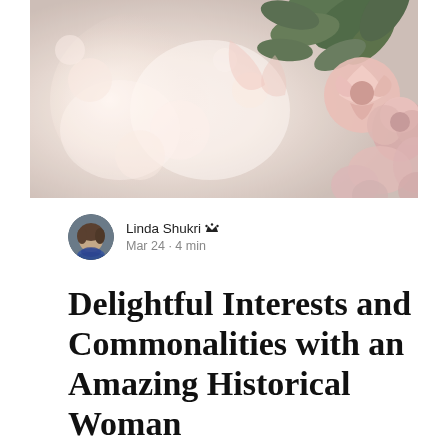[Figure (photo): Close-up photograph of pink roses and flowers with green leaves, soft bokeh background with warm light]
Linda Shukri 👑
Mar 24 · 4 min
Delightful Interests and Commonalities with an Amazing Historical Woman